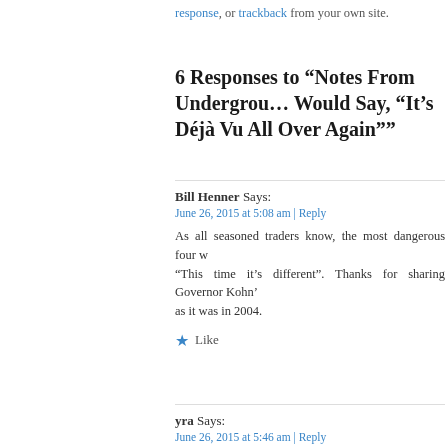response, or trackback from your own site.
6 Responses to “Notes From Underground: Yogi Berra Would Say, “It’s Déjà Vu All Over Again””
Bill Henner Says:
June 26, 2015 at 5:08 am | Reply

As all seasoned traders know, the most dangerous four w... "This time it's different". Thanks for sharing Governor Kohn'... as it was in 2004.
Like
yra Says:
June 26, 2015 at 5:46 am | Reply

Good to hear from you William–hope al is well and keep thi... words will come back to haunt
Like
mikegre2014 Says:
June 26, 2015 at 6:41 am | Reply